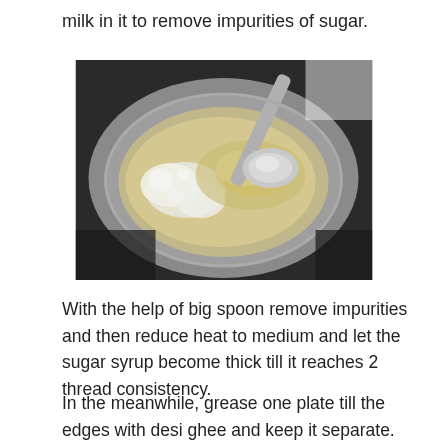milk in it to remove impurities of sugar.
[Figure (photo): A metal pan on a stove with sugar syrup boiling and a large metal spoon stirring, showing white foamy impurities being skimmed off.]
With the help of big spoon remove impurities and then reduce heat to medium and let the sugar syrup become thick till it reaches 2 thread consistency.
In the meanwhile, grease one plate till the edges with desi ghee and keep it separate.